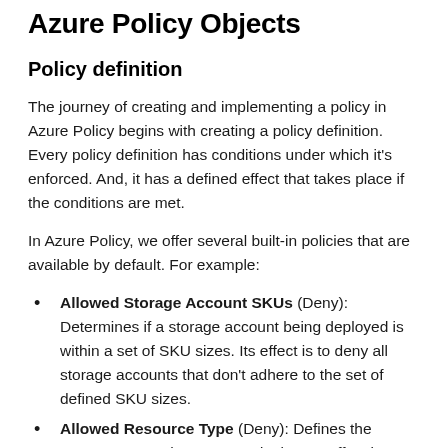Azure Policy Objects
Policy definition
The journey of creating and implementing a policy in Azure Policy begins with creating a policy definition. Every policy definition has conditions under which it's enforced. And, it has a defined effect that takes place if the conditions are met.
In Azure Policy, we offer several built-in policies that are available by default. For example:
Allowed Storage Account SKUs (Deny): Determines if a storage account being deployed is within a set of SKU sizes. Its effect is to deny all storage accounts that don't adhere to the set of defined SKU sizes.
Allowed Resource Type (Deny): Defines the resource types that you can deploy. Its effect is to deny all